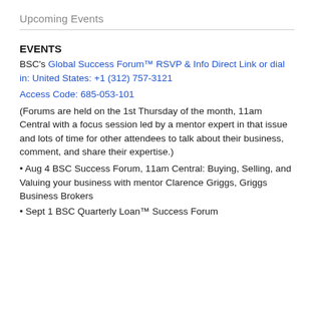Upcoming Events
EVENTS
BSC's Global Success Forum™ RSVP & Info Direct Link or dial in: United States: +1 (312) 757-3121
Access Code: 685-053-101
(Forums are held on the 1st Thursday of the month, 11am Central with a focus session led by a mentor expert in that issue and lots of time for other attendees to talk about their business, comment, and share their expertise.)
Aug 4 BSC Success Forum, 11am Central: Buying, Selling, and Valuing your business with mentor Clarence Griggs, Griggs Business Brokers
Sept 1 BSC Quarterly Loan™ Success Forum